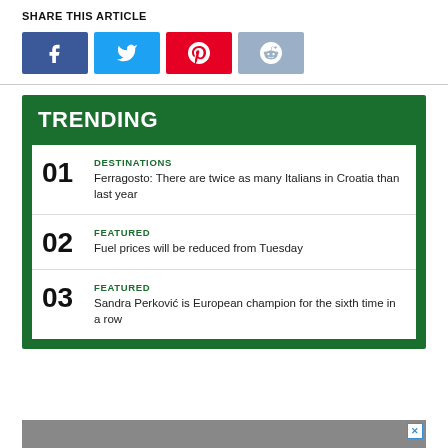SHARE THIS ARTICLE
[Figure (infographic): Four social media share buttons: Facebook (blue), Twitter (light blue), Pinterest (red), Reddit (light blue/grey)]
TRENDING
01 DESTINATIONS Ferragosto: There are twice as many Italians in Croatia than last year
02 FEATURED Fuel prices will be reduced from Tuesday
03 FEATURED Sandra Perković is European champion for the sixth time in a row